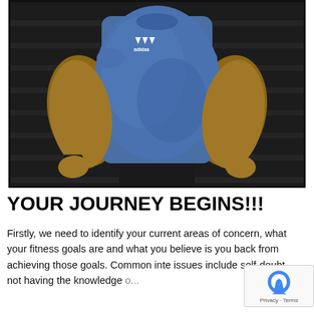[Figure (photo): A muscular man in a blue Adidas t-shirt with arms at sides, posing against a dark background. Only the torso and arms are visible, no head shown.]
YOUR JOURNEY BEGINS!!!
Firstly, we need to identify your current areas of concern, what your fitness goals are and what you believe is you back from achieving those goals. Common inte issues include self-doubt, not having the knowledge b